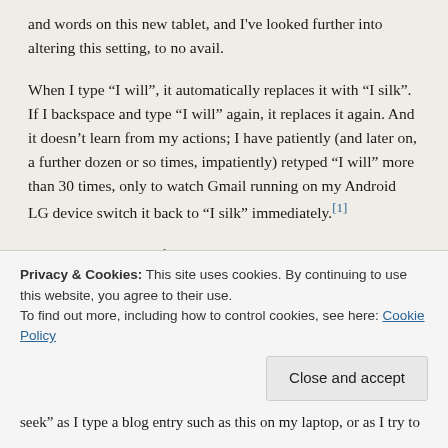and words on this new tablet, and I've looked further into altering this setting, to no avail.
When I type “I will”, it automatically replaces it with “I silk”. If I backspace and type “I will” again, it replaces it again. And it doesn’t learn from my actions; I have patiently (and later on, a further dozen or so times, impatiently) retyped “I will” more than 30 times, only to watch Gmail running on my Android LG device switch it back to “I silk” immediately.[1]
Where did this come from? Is there a band called “I silk”? Is this a new phrase that’s in these days, and I haven’t been overhearing my students enough to know about it?
Or is it because earlier that day, I tried to write “I seek to …” where
Privacy & Cookies: This site uses cookies. By continuing to use this website, you agree to their use.
To find out more, including how to control cookies, see here: Cookie Policy
Close and accept
seek” as I type a blog entry such as this on my laptop, or as I try to